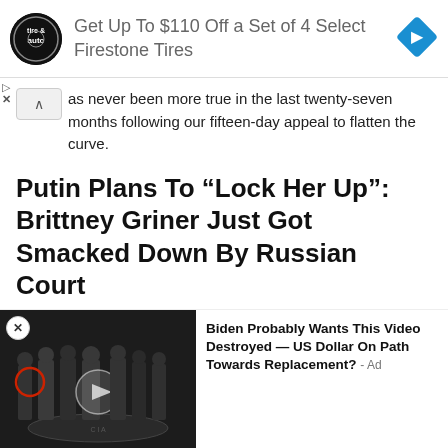[Figure (photo): Advertisement banner: Tire & Auto logo circle on left, text 'Get Up To $110 Off a Set of 4 Select Firestone Tires', blue diamond navigation icon on right. Play and close controls on left side below banner.]
as never been more true in the last twenty-seven months following our fifteen-day appeal to flatten the curve.
Putin Plans To “Lock Her Up”: Brittney Griner Just Got Smacked Down By Russian Court
by Hailey Sanibel / August 19, 2022
So, as h Russian saga played out, she found little support
[Figure (photo): Bottom overlay ad: Left side shows photo of group of people standing in front of CIA seal floor. Right side shows ad text: 'Biden Probably Wants This Video Destroyed — US Dollar On Path Towards Replacement? - Ad'. Close button (X) in circle at top left of image.]